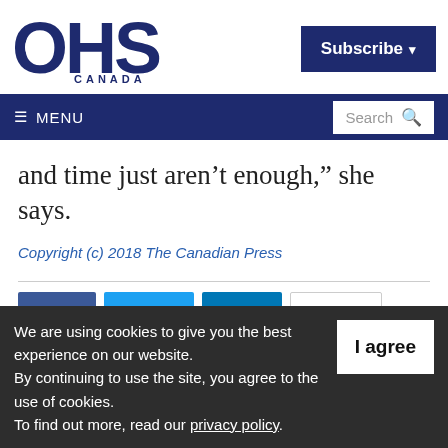[Figure (logo): OHS Canada logo with large dark blue letters OHS and CANADA text below]
Subscribe ▾
≡ MENU   Search 🔍
and time just aren't enough,” she says.
Copyright (c) 2018 The Canadian Press
We are using cookies to give you the best experience on our website.
By continuing to use the site, you agree to the use of cookies.
To find out more, read our privacy policy.